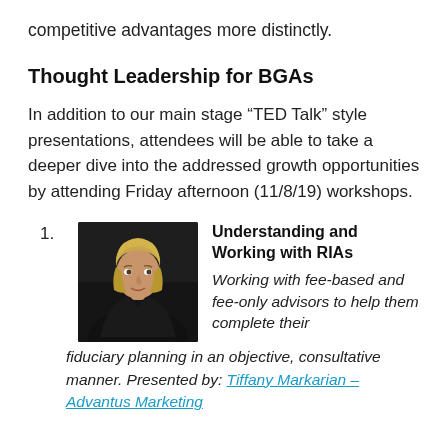competitive advantages more distinctly.
Thought Leadership for BGAs
In addition to our main stage “TED Talk” style presentations, attendees will be able to take a deeper dive into the addressed growth opportunities by attending Friday afternoon (11/8/19) workshops.
1. Understanding and Working with RIAs — Working with fee-based and fee-only advisors to help them complete their fiduciary planning in an objective, consultative manner. Presented by: Tiffany Markarian – Advantus Marketing
[Figure (photo): Professional headshot of a woman with blonde hair wearing a dark blazer against a dark background]